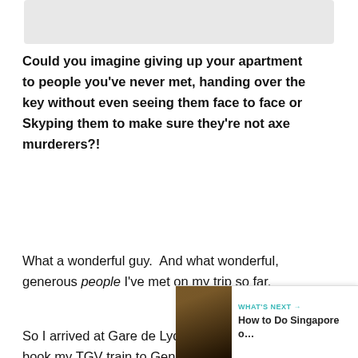[Figure (photo): Partial image visible at top of page, light gray background]
Could you imagine giving up your apartment to people you've never met, handing over the key without even seeing them face to face or Skyping them to make sure they're not axe murderers?!
What a wonderful guy.  And what wonderful, generous people I've met on my trip so far.
So I arrived at Gare de Lyon in Paris, ready to book my TGV train to Geneva, when I was hit with:
Setback #5: No trains were available.  With my rail pass, I'm free to hop on local trains, but fast trains need to be reserved in advance.  It turns out that the